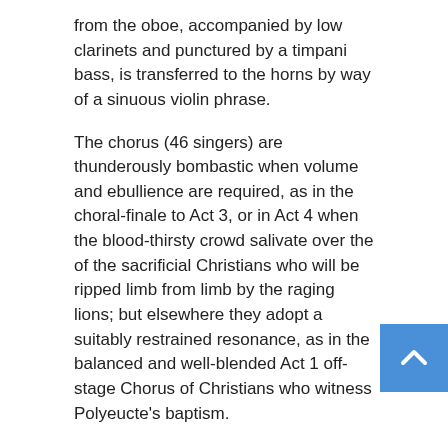from the oboe, accompanied by low clarinets and punctured by a timpani bass, is transferred to the horns by way of a sinuous violin phrase.
The chorus (46 singers) are thunderously bombastic when volume and ebullience are required, as in the choral-finale to Act 3, or in Act 4 when the blood-thirsty crowd salivate over the of the sacrificial Christians who will be ripped limb from limb by the raging lions; but elsewhere they adopt a suitably restrained resonance, as in the balanced and well-blended Act 1 off-stage Chorus of Christians who witness Polyeucte's baptism.
Michael Spyres is superb as Polyeucte, exhibiting infinite stamina, an incredibly strong chest register and an amazing top —